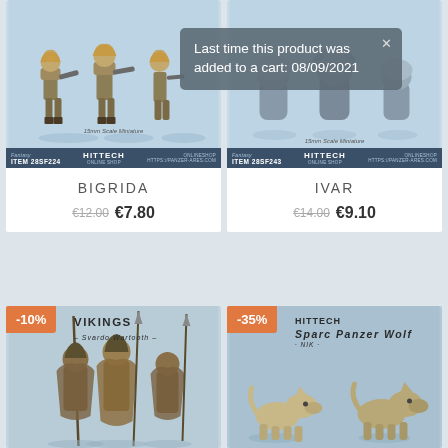[Figure (photo): Product card for BIGRIDA miniature figure. Image shows armored warrior miniatures. Blue bottom band reads ITEM 28SF224. Price shown as old price €12.00 crossed out and new price €7.80.]
[Figure (photo): Product card for IVAR miniature figure. Image shows stone/grey creature miniatures. Blue bottom band reads ITEM 28SF243. A tooltip overlay reads: Last time this product was added to a cart: 08/09/2021. Price shown as old price €14.00 crossed out and new price €9.10.]
[Figure (photo): Bottom left preview card for VIKINGS - Svardo Wartooth - miniature set, with -10% discount badge in orange.]
[Figure (photo): Bottom right preview card for Sparc Panzer Wolf miniature set, with -35% discount badge in orange.]